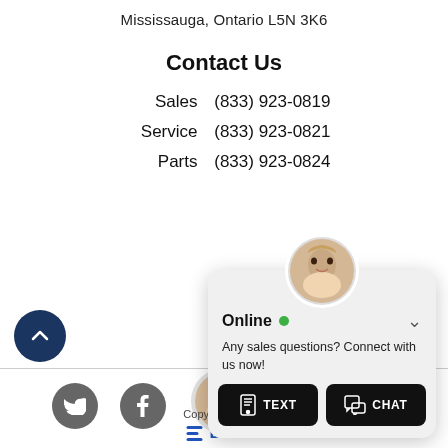Mississauga, Ontario L5N 3K6
Contact Us
Sales    (833) 923-0819
Service    (833) 923-0821
Parts    (833) 923-0824
[Figure (screenshot): Online chat widget with avatar photo of a smiling woman, green online indicator, text 'Any sales questions? Connect with us now!', and two black buttons labeled TEXT and CHAT]
Copy... ...erved.
[Figure (logo): eDealer logo with three horizontal lines and text 'Dealer']